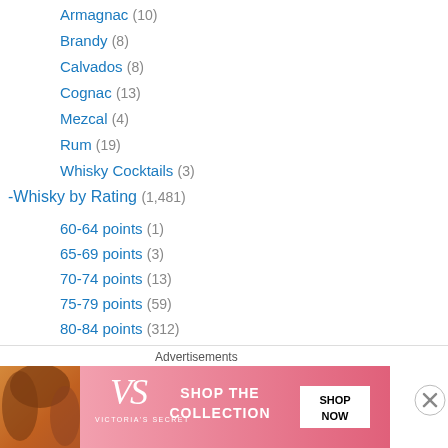Armagnac (10)
Brandy (8)
Calvados (8)
Cognac (13)
Mezcal (4)
Rum (19)
Whisky Cocktails (3)
-Whisky by Rating (1,481)
60-64 points (1)
65-69 points (3)
70-74 points (13)
75-79 points (59)
80-84 points (312)
85-89 points (930)
90-94 points (167)
95-100 points (1)
Distillery (1,478)
[Figure (screenshot): Victoria's Secret advertisement banner with model, VS logo, 'SHOP THE COLLECTION' text and 'SHOP NOW' button]